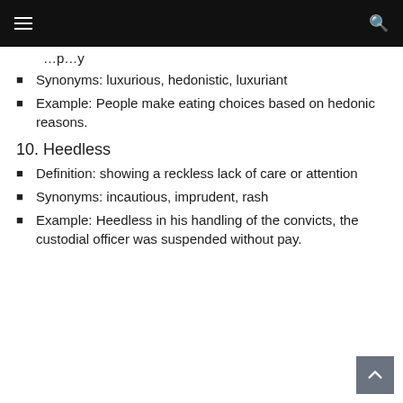…primarily…
Synonyms: luxurious, hedonistic, luxuriant
Example: People make eating choices based on hedonic reasons.
10. Heedless
Definition: showing a reckless lack of care or attention
Synonyms: incautious, imprudent, rash
Example: Heedless in his handling of the convicts, the custodial officer was suspended without pay.